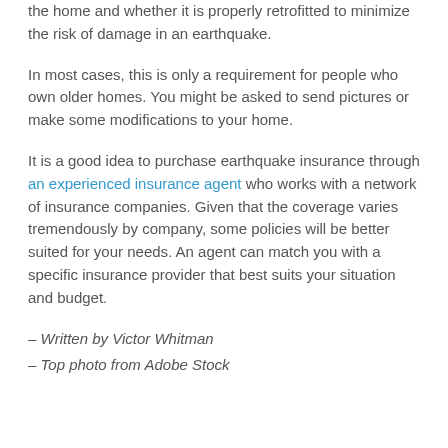the home and whether it is properly retrofitted to minimize the risk of damage in an earthquake.
In most cases, this is only a requirement for people who own older homes. You might be asked to send pictures or make some modifications to your home.
It is a good idea to purchase earthquake insurance through an experienced insurance agent who works with a network of insurance companies. Given that the coverage varies tremendously by company, some policies will be better suited for your needs. An agent can match you with a specific insurance provider that best suits your situation and budget.
– Written by Victor Whitman
– Top photo from Adobe Stock